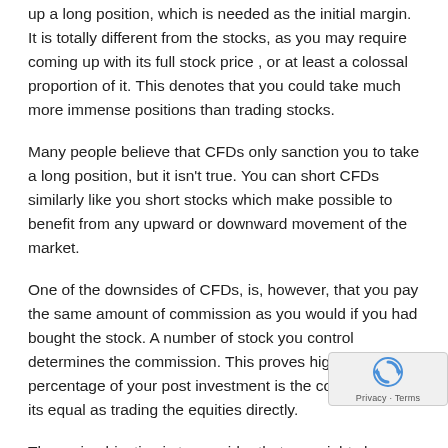up a long position, which is needed as the initial margin. It is totally different from the stocks, as you may require coming up with its full stock price , or at least a colossal proportion of it. This denotes that you could take much more immense positions than trading stocks.
Many people believe that CFDs only sanction you to take a long position, but it isn’t true. You can short CFDs similarly like you short stocks which make possible to benefit from any upward or downward movement of the market.
One of the downsides of CFDs, is, however, that you pay the same amount of commission as you would if you had bought the stock. A number of stock you control determines the commission. This proves higher percentage of your post investment is the commission as its equal as trading the equities directly.
The main objective is to consider that overnight charges...